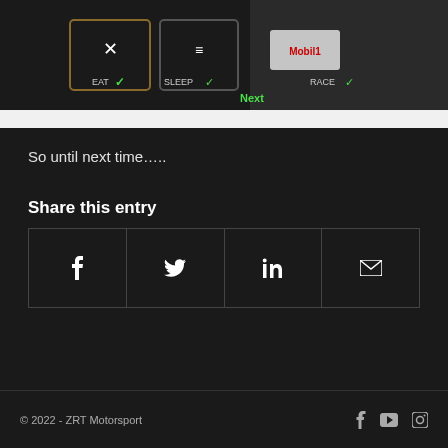[Figure (photo): Photo of person wearing black motorsport shirt with 'EAT', 'SLEEP', 'RACE' logos with green checkmarks, and Mobil1 branding. Dark background.]
So until next time…..
Share this entry
[Figure (infographic): Share buttons row with Facebook, Twitter, LinkedIn, and Email icons in bordered boxes]
© 2022 - ZRT Motorsport